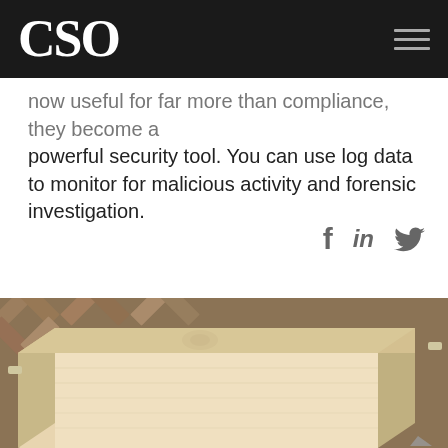CSO
now useful for far more than compliance, they become a powerful security tool. You can use log data to monitor for malicious activity and forensic investigation.
[Figure (photo): An open wooden box or drawer made of light pine wood with visible knots, sitting on a herringbone parquet floor. The box lid is propped open. Social sharing icons (Facebook, LinkedIn, Twitter) appear in the upper right area above the photo.]
[Figure (other): Scroll-to-top arrow icon in bottom right corner]